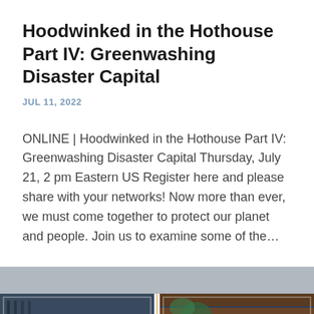Hoodwinked in the Hothouse Part IV: Greenwashing Disaster Capital
JUL 11, 2022
ONLINE | Hoodwinked in the Hothouse Part IV: Greenwashing Disaster Capital Thursday, July 21, 2 pm Eastern US Register here and please share with your networks! Now more than ever, we must come together to protect our planet and people. Join us to examine some of the...
[Figure (photo): Two side-by-side photos of men, left photo shows a man with beard and glasses in a light-colored shirt in an indoor setting, right photo shows a man with beard seated outdoors against a wooden background with green foliage]